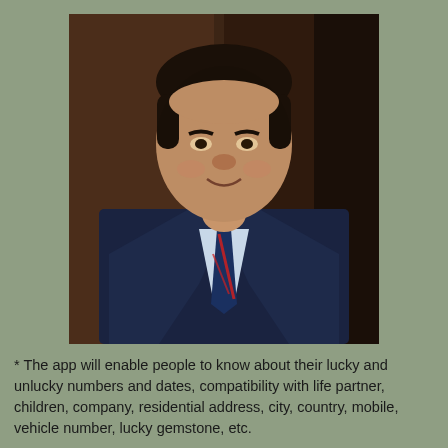[Figure (photo): Portrait photograph of a middle-aged South Asian man in a dark navy suit with a striped red and blue tie and white dress shirt, smiling, with dark hair, posed in front of a wooden door background.]
* The app will enable people to know about their lucky and unlucky numbers and dates, compatibility with life partner, children, company, residential address, city, country, mobile, vehicle number, lucky gemstone, etc.